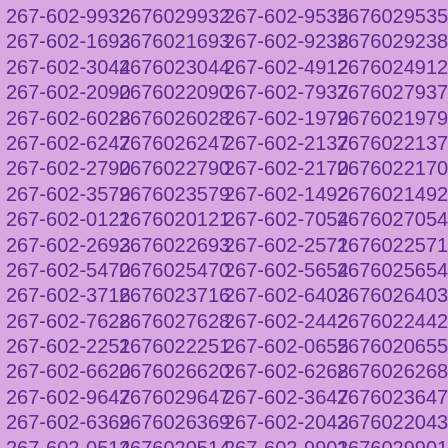| 267-602-9932 | 2676029932 | 267-602-9535 | 2676029535 |
| 267-602-1693 | 2676021693 | 267-602-9238 | 2676029238 |
| 267-602-3044 | 2676023044 | 267-602-4912 | 2676024912 |
| 267-602-2090 | 2676022090 | 267-602-7937 | 2676027937 |
| 267-602-6028 | 2676026028 | 267-602-1979 | 2676021979 |
| 267-602-6247 | 2676026247 | 267-602-2137 | 2676022137 |
| 267-602-2790 | 2676022790 | 267-602-2170 | 2676022170 |
| 267-602-3579 | 2676023579 | 267-602-1492 | 2676021492 |
| 267-602-0121 | 2676020121 | 267-602-7054 | 2676027054 |
| 267-602-2693 | 2676022693 | 267-602-2571 | 2676022571 |
| 267-602-5470 | 2676025470 | 267-602-5654 | 2676025654 |
| 267-602-3716 | 2676023716 | 267-602-6403 | 2676026403 |
| 267-602-7628 | 2676027628 | 267-602-2442 | 2676022442 |
| 267-602-2251 | 2676022251 | 267-602-0655 | 2676020655 |
| 267-602-6620 | 2676026620 | 267-602-6268 | 2676026268 |
| 267-602-9647 | 2676029647 | 267-602-3647 | 2676023647 |
| 267-602-6369 | 2676026369 | 267-602-2043 | 2676022043 |
| 267-602-0514 | 2676020514 | 267-602-9901 | 2676029901 |
| 267-602-5021 | 2676025021 | 267-602-4498 | 2676024498 |
| 267-602-9748 | 2676029748 | 267-602-7007 | 2676027007 |
| 267-602-6941 | 2676026941 | 267-602-9264 | 2676029264 |